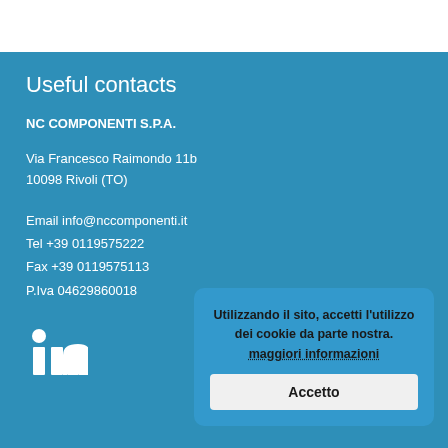Useful contacts
NC COMPONENTI S.P.A.
Via Francesco Raimondo 11b
10098 Rivoli (TO)
Email info@nccomponenti.it
Tel +39 0119575222
Fax +39 0119575113
P.Iva 04629860018
[Figure (logo): LinkedIn logo icon in white]
Utilizzando il sito, accetti l'utilizzo dei cookie da parte nostra. maggiori informazioni
Accetto